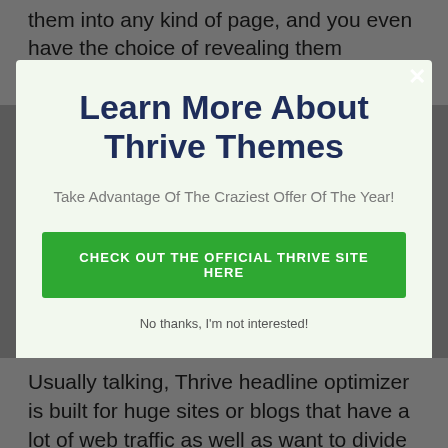them into any kind of page, and you even have the choice of revealing them dynamically.
[Figure (screenshot): Modal popup overlay on a grey-background webpage. Contains a close button (x), a large bold heading 'Learn More About Thrive Themes', a subtitle 'Take Advantage Of The Craziest Offer Of The Year!', a green CTA button 'CHECK OUT THE OFFICIAL THRIVE SITE HERE', and a dismiss link 'No thanks, I'm not interested!']
Usually talking, Thrive headline optimizer is built for huge sites or blogs that have a lot of web traffic as well as want to divide examination just